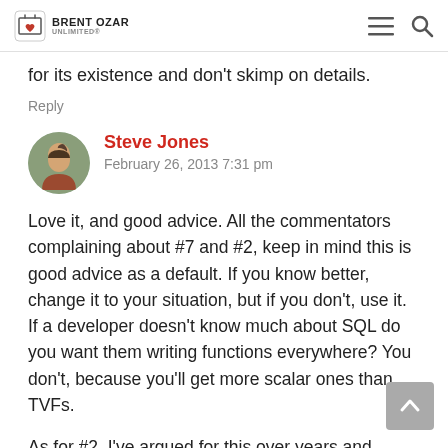Brent Ozar Unlimited
for its existence and don't skimp on details.
Reply
Steve Jones
February 26, 2013 7:31 pm
Love it, and good advice. All the commentators complaining about #7 and #2, keep in mind this is good advice as a default. If you know better, change it to your situation, but if you don't, use it. If a developer doesn't know much about SQL do you want them writing functions everywhere? You don't, because you'll get more scalar ones than TVFs.
As for #2, I've argued for this over years and rarely